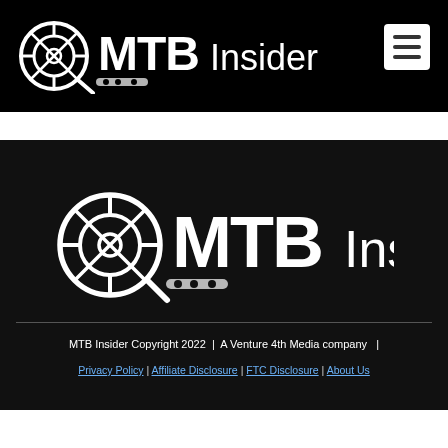MTB Insider
[Figure (logo): MTB Insider logo - large centered version in footer area, white on black background]
MTB Insider Copyright 2022  |  A Venture 4th Media company  |  Privacy Policy | Affiliate Disclosure | FTC Disclosure | About Us